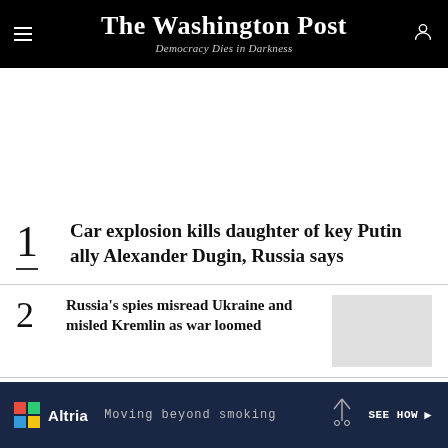The Washington Post
Democracy Dies in Darkness
1 Car explosion kills daughter of key Putin ally Alexander Dugin, Russia says
2 Russia's spies misread Ukraine and misled Kremlin as war loomed
3 A Russian soldier's journal: 'I will not participate in this madness'
[Figure (other): Altria advertisement banner: Moving beyond smoking. SEE HOW >]